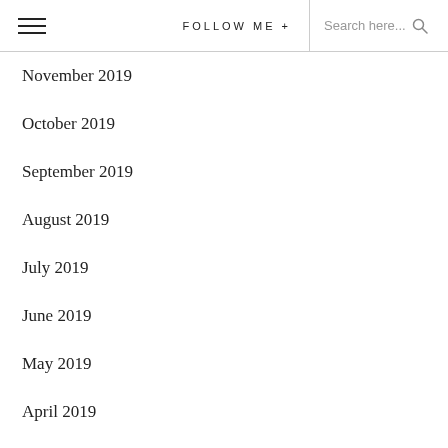≡  FOLLOW ME +  Search here...
November 2019
October 2019
September 2019
August 2019
July 2019
June 2019
May 2019
April 2019
March 2019
February 2019
January 2019
December 2018